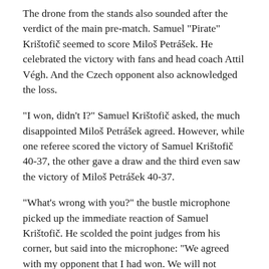The drone from the stands also sounded after the verdict of the main pre-match. Samuel "Pirate" Krištofič seemed to score Miloš Petrášek. He celebrated the victory with fans and head coach Attil Végh. And the Czech opponent also acknowledged the loss.
"I won, didn't I?" Samuel Krištofič asked, the much disappointed Miloš Petrášek agreed. However, while one referee scored the victory of Samuel Krištofič 40-37, the other gave a draw and the third even saw the victory of Miloš Petrášek 40-37.
"What's wrong with you?" the bustle microphone picked up the immediate reaction of Samuel Krištofič. He scolded the point judges from his corner, but said into the microphone: "We agreed with my opponent that I had won. We will not comment on the performance of the judges. "
However, the sport...